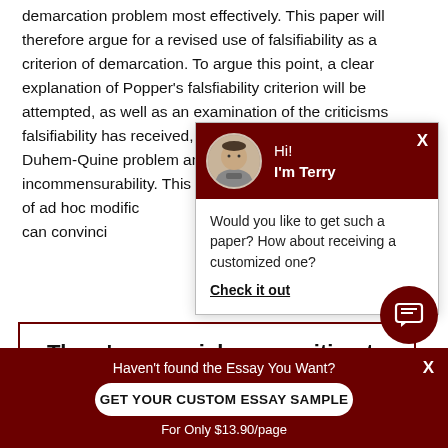demarcation problem most effectively. This paper will therefore argue for a revised use of falsifiability as a criterion of demarcation. To argue this point, a clear explanation of Popper's falsfiability criterion will be attempted, as well as an examination of the criticisms falsifiability has received, specifically in relation to the Duhem-Quine problem and Kuhn's problem of incommensurability. This paper also includes a discussion of ad hoc modifications, before concluding that falsifiability can convincingly demarcate science from pseudo-science.
[Figure (screenshot): Chat popup with avatar of Terry, text: 'Hi! I'm Terry' and chat message 'Would you like to get such a paper? How about receiving a customized one?' with a 'Check it out' link]
There's a special offer waiting to help you!
Tell us what you need to have done
[Figure (screenshot): Chat icon button (dark red circle with speech bubble icon)]
Haven't found the Essay You Want?
GET YOUR CUSTOM ESSAY SAMPLE
For Only $13.90/page